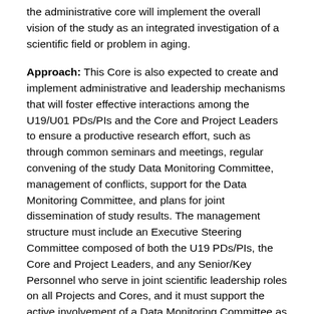the administrative core will implement the overall vision of the study as an integrated investigation of a scientific field or problem in aging.
Approach: This Core is also expected to create and implement administrative and leadership mechanisms that will foster effective interactions among the U19/U01 PDs/PIs and the Core and Project Leaders to ensure a productive research effort, such as through common seminars and meetings, regular convening of the study Data Monitoring Committee, management of conflicts, support for the Data Monitoring Committee, and plans for joint dissemination of study results. The management structure must include an Executive Steering Committee composed of both the U19 PDs/PIs, the Core and Project Leaders, and any Senior/Key Personnel who serve in joint scientific leadership roles on all Projects and Cores, and it must support the active involvement of a Data Monitoring Committee as described in Section VI. 2, Cooperative Agreement Terms and Conditions of Award. If proposing new Data Monitoring Committee members, do not list proposed members in the application and do not contact proposed members. Instead list intended areas of expertise. Describe how the several elements proposed in the administrative core will be operationalized to achieve transparent communication across projects and Cores,